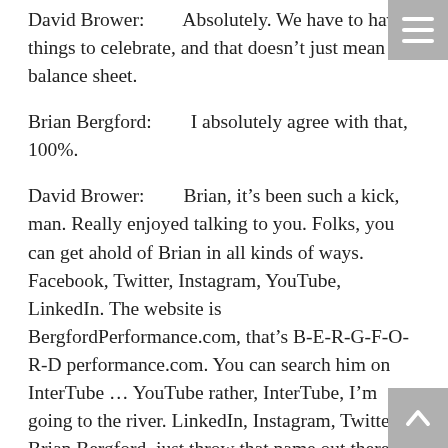David Brower:        Absolutely. We have to have things to celebrate, and that doesn't just mean the balance sheet.
Brian Bergford:        I absolutely agree with that, 100%.
David Brower:        Brian, it's been such a kick, man. Really enjoyed talking to you. Folks, you can get ahold of Brian in all kinds of ways. Facebook, Twitter, Instagram, YouTube, LinkedIn. The website is BergfordPerformance.com, that's B-E-R-G-F-O-R-D performance.com. You can search him on InterTube … YouTube rather, InterTube, I'm going to the river. LinkedIn, Instagram, Twitter, Brian Bergford, just throw that name out there. Brian Bergford. B-E-R-G-F-O-R-D, and you will find him everywhere and anywhere, and my friend, thank you so much for all you do, all you've done, and all you will continue to do. You are obviously touching the hearts and souls of many people and many dogs.
Brian Bergford:        And I appreciate that very much, and for anybody out there that maybe has something that